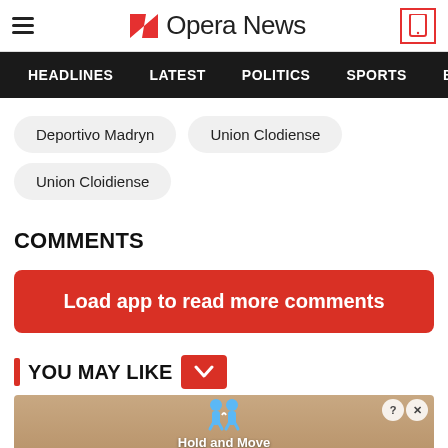Opera News
HEADLINES | LATEST | POLITICS | SPORTS
Deportivo Madryn
Union Clodiense
Union Cloidiense
COMMENTS
Load app to read more comments
YOU MAY LIKE
[Figure (screenshot): Ad banner showing Hold and Move app with cartoon figures on a ramp background]